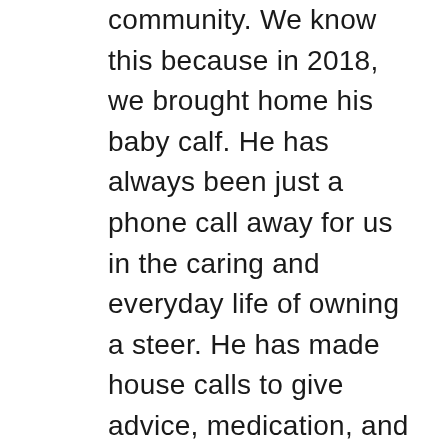community. We know this because in 2018, we brought home his baby calf. He has always been just a phone call away for us in the caring and everyday life of owning a steer. He has made house calls to give advice, medication, and vaccinations to keep him healthy. His grandchildren are involved in 4-H, and local athletics, and you can find him often at the ball fields, and 4-H events. We wouldn't have made it as far as we have with our steers without him. He will give you the shirt off his back if you needed it. This past summer he was in his fields teaching our son how to pick corn and green beans. We are blessed to have our driver in our lives and saddened that since we moved across town this past summer, he is no longer our bus driver. Despite this, he still checks in